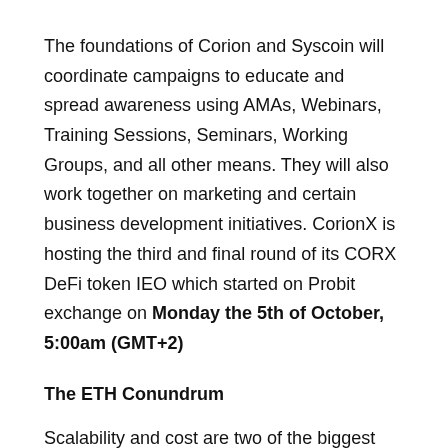The foundations of Corion and Syscoin will coordinate campaigns to educate and spread awareness using AMAs, Webinars, Training Sessions, Seminars, Working Groups, and all other means. They will also work together on marketing and certain business development initiatives. CorionX is hosting the third and final round of its CORX DeFi token IEO which started on Probit exchange on Monday the 5th of October, 5:00am (GMT+2)
The ETH Conundrum
Scalability and cost are two of the biggest factors that determine whether or not a new digital currency will have a chance to be adopted on a global scale. Ethereum is currently the blockchain of finance, but increasing stablecoin and DeFi transactions have exacerbated an already congested network, only equipped to process around 15